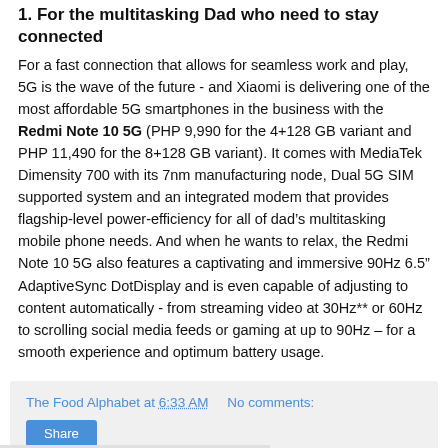1. For the multitasking Dad who need to stay connected
For a fast connection that allows for seamless work and play, 5G is the wave of the future - and Xiaomi is delivering one of the most affordable 5G smartphones in the business with the Redmi Note 10 5G (PHP 9,990 for the 4+128 GB variant and PHP 11,490 for the 8+128 GB variant). It comes with MediaTek Dimensity 700 with its 7nm manufacturing node, Dual 5G SIM supported system and an integrated modem that provides flagship-level power-efficiency for all of dad’s multitasking mobile phone needs. And when he wants to relax, the Redmi Note 10 5G also features a captivating and immersive 90Hz 6.5” AdaptiveSync DotDisplay and is even capable of adjusting to content automatically - from streaming video at 30Hz** or 60Hz to scrolling social media feeds or gaming at up to 90Hz – for a smooth experience and optimum battery usage.
The Food Alphabet at 6:33 AM    No comments:
Share